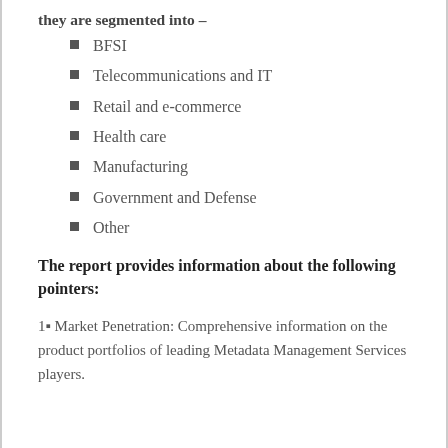they are segmented into –
BFSI
Telecommunications and IT
Retail and e-commerce
Health care
Manufacturing
Government and Defense
Other
The report provides information about the following pointers:
1▪ Market Penetration: Comprehensive information on the product portfolios of leading Metadata Management Services players.